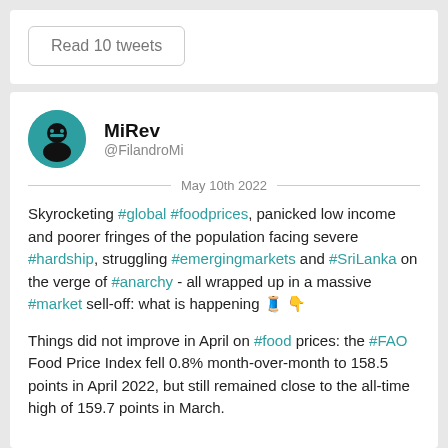Read 10 tweets
MiRev
@FilandroMi
May 10th 2022
Skyrocketing #global #foodprices, panicked low income and poorer fringes of the population facing severe #hardship, struggling #emergingmarkets and #SriLanka on the verge of #anarchy - all wrapped up in a massive #market sell-off: what is happening 🧵 👇
Things did not improve in April on #food prices: the #FAO Food Price Index fell 0.8% month-over-month to 158.5 points in April 2022, but still remained close to the all-time high of 159.7 points in March.